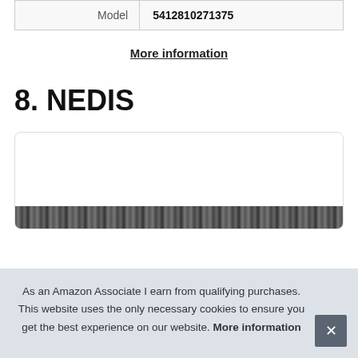| Model | 5412810271375 |
More information
8. NEDIS
[Figure (other): Product card with image placeholder for NEDIS product]
As an Amazon Associate I earn from qualifying purchases. This website uses the only necessary cookies to ensure you get the best experience on our website. More information